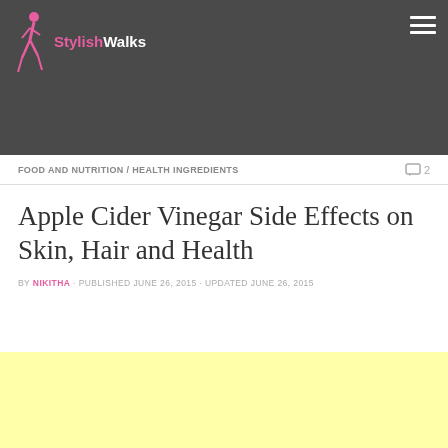StylishWalks
FOOD AND NUTRITION / HEALTH INGREDIENTS   2
Apple Cider Vinegar Side Effects on Skin, Hair and Health
BY NIKITHA · PUBLISHED JUNE 26, 2015 · UPDATED JUNE 26, 2015
[Figure (other): Yellow advertisement placeholder banner]